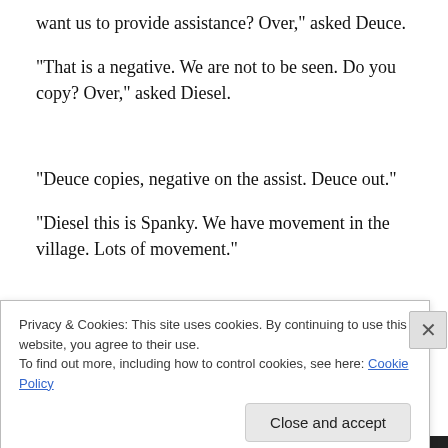“want us to provide assistance? Over,” asked Deuce.
“That is a negative. We are not to be seen. Do you copy? Over,” asked Diesel.
“Deuce copies, negative on the assist. Deuce out.”
“Diesel this is Spanky. We have movement in the village. Lots of movement.”
Privacy & Cookies: This site uses cookies. By continuing to use this website, you agree to their use.
To find out more, including how to control cookies, see here: Cookie Policy
Close and accept